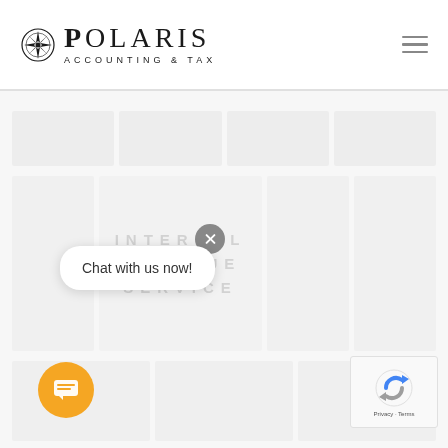[Figure (logo): Polaris Accounting & Tax logo with compass star icon]
[Figure (screenshot): Website content area with faded tile grid and IRS text watermark in background]
Chat with us now!
[Figure (other): Orange circular chat button with message icon]
[Figure (other): reCAPTCHA widget showing Privacy and Terms links]